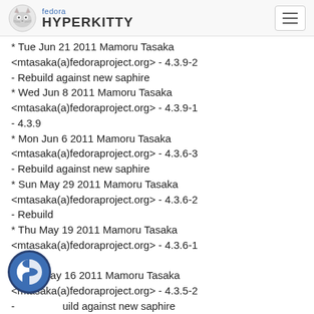fedora HYPERKITTY
* Tue Jun 21 2011 Mamoru Tasaka <mtasaka(a)fedoraproject.org&gt; - 4.3.9-2
- Rebuild against new saphire
* Wed Jun 8 2011 Mamoru Tasaka <mtasaka(a)fedoraproject.org&gt; - 4.3.9-1
- 4.3.9
* Mon Jun 6 2011 Mamoru Tasaka <mtasaka(a)fedoraproject.org&gt; - 4.3.6-3
- Rebuild against new saphire
* Sun May 29 2011 Mamoru Tasaka <mtasaka(a)fedoraproject.org&gt; - 4.3.6-2
- Rebuild
* Thu May 19 2011 Mamoru Tasaka <mtasaka(a)fedoraproject.org&gt; - 4.3.6-1
- 4.3.6
* Mon May 16 2011 Mamoru Tasaka <mtasaka(a)fedoraproject.org&gt; - 4.3.5-2
- Rebuild against new saphire
* Mon May 9 2011 Mamoru Tasaka <mtasaka(a)fedoraproject.org&gt; - 4.3.5-1